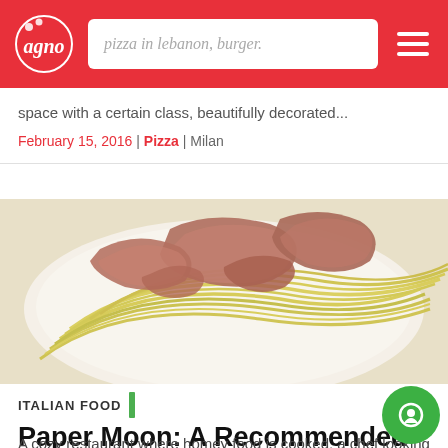pizza in lebanon, burger.
space with a certain class, beautifully decorated...
February 15, 2016 | Pizza | Milan
[Figure (photo): A plate of spaghetti pasta with sliced cured meat on top, served on a white plate]
ITALIAN FOOD
Paper Moon: A Recommended Trattoria in Milan
A cozy restaurant where homey food is cooked, a chef looking at his customers from behind glass window as the owners walk around the tables to welcome guests and even clean tables when needed.